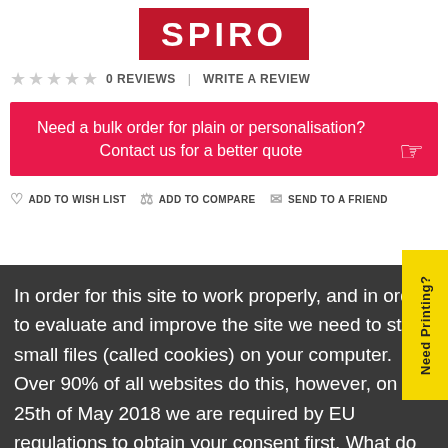[Figure (logo): SPIRO logo — white bold text on red rectangle background]
★★★★★  0 REVIEWS | WRITE A REVIEW
Need a bulk order for plain or personalisation? Contact us for a better quote
ADD TO WISH LIST   ADD TO COMPARE   SEND TO A FRIEND
In order for this site to work properly, and in order to evaluate and improve the site we need to store small files (called cookies) on your computer. Over 90% of all websites do this, however, on the 25th of May 2018 we are required by EU regulations to obtain your consent first. What do you say?.   Read More
✓ Accept
Need Printing?